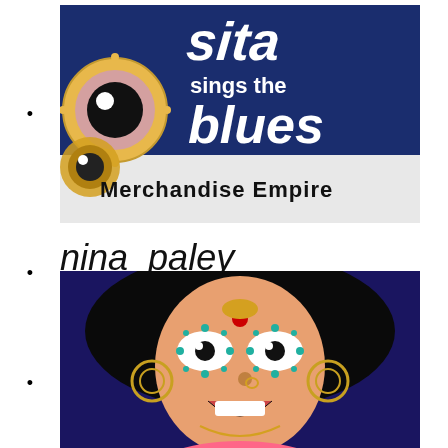Sita Sings the Blues Merchandise Empire (logo/image)
nina_paley@yahoo.com
Illustration of Sita character (animated Indian woman with decorative eyes)
Illustration of animated frantic male character
Illustration of animated cat character on yellow background